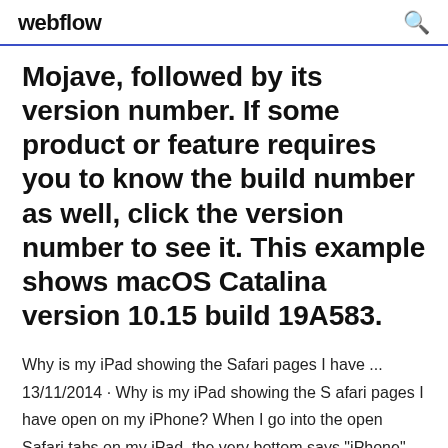webflow
Mojave, followed by its version number. If some product or feature requires you to know the build number as well, click the version number to see it. This example shows macOS Catalina version 10.15 build 19A583.
Why is my iPad showing the Safari pages I have ... 13/11/2014 · Why is my iPad showing the Safari pages I have open on my iPhone? When I go into the open Safari tabs on my iPad, the very bottom says "iPhone" and has the pages currently open on the iPhone. I use the same